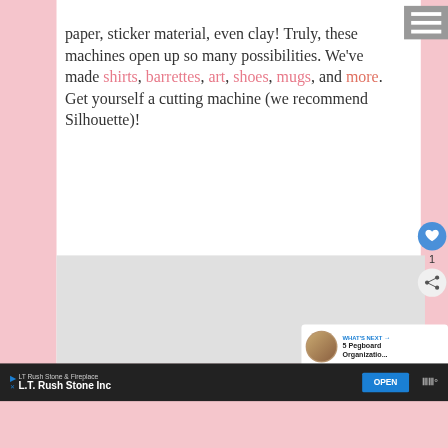paper, sticker material, even clay! Truly, these machines open up so many possibilities. We've made shirts, barrettes, art, shoes, mugs, and more. Get yourself a cutting machine (we recommend Silhouette)!
[Figure (screenshot): Hamburger menu icon (three horizontal white lines on gray background) in top right corner]
[Figure (screenshot): Blue circular heart/like button, count of 1, and circular share button on right side]
[Figure (screenshot): What's Next panel showing a thumbnail and text '5 Pegboard Organizatio...']
[Figure (screenshot): Advertisement bar at bottom: LT Rush Stone & Fireplace / L.T. Rush Stone Inc with OPEN button]